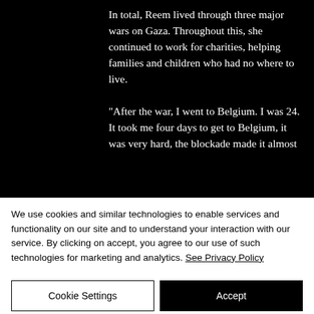In total, Reem lived through three major wars on Gaza. Throughout this, she continued to work for charities, helping families and children who had no where to live.

“After the war, I went to Belgium. I was 24. It took me four days to get to Belgium, it was very hard, the blockade made it almost
We use cookies and similar technologies to enable services and functionality on our site and to understand your interaction with our service. By clicking on accept, you agree to our use of such technologies for marketing and analytics. See Privacy Policy